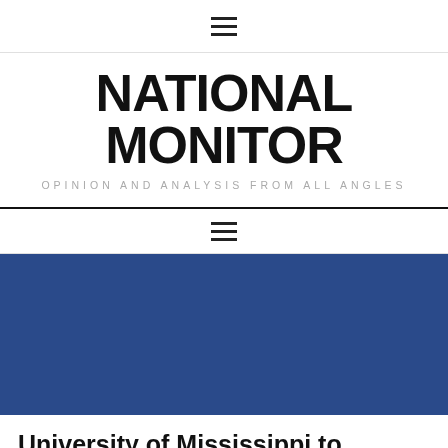≡
NATIONAL MONITOR
OPINION AND ANALYSIS FROM ALL ANGLES
≡
University of Mississippi to